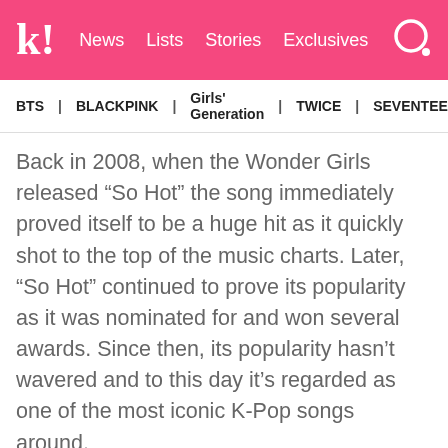k! News Lists Stories Exclusives
BTS  BLACKPINK  Girls' Generation  TWICE  SEVENTEEN
Back in 2008, when the Wonder Girls released “So Hot” the song immediately proved itself to be a huge hit as it quickly shot to the top of the music charts. Later, “So Hot” continued to prove its popularity as it was nominated for and won several awards. Since then, its popularity hasn’t wavered and to this day it’s regarded as one of the most iconic K-Pop songs around.
[Figure (screenshot): YouTube video embed showing Wonder Girls "So Hot" M/V with circular channel thumbnail and three-dot menu icon on dark background]